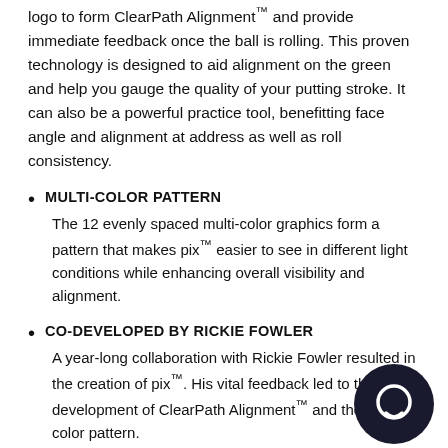logo to form ClearPath Alignment™ and provide immediate feedback once the ball is rolling. This proven technology is designed to aid alignment on the green and help you gauge the quality of your putting stroke. It can also be a powerful practice tool, benefitting face angle and alignment at address as well as roll consistency.
MULTI-COLOR PATTERN
The 12 evenly spaced multi-color graphics form a pattern that makes pix™ easier to see in different light conditions while enhancing overall visibility and alignment.
CO-DEVELOPED BY RICKIE FOWLER
A year-long collaboration with Rickie Fowler resulted in the creation of pix™. His vital feedback led to the development of ClearPath Alignment™ and the unique color pattern.
NEW TOUR FLIGHT DIMPLE PATTERN